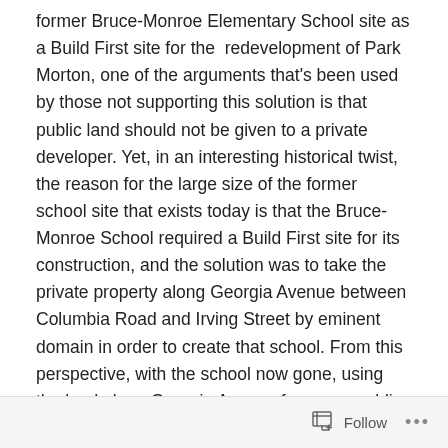former Bruce-Monroe Elementary School site as a Build First site for the redevelopment of Park Morton, one of the arguments that's been used by those not supporting this solution is that public land should not be given to a private developer. Yet, in an interesting historical twist, the reason for the large size of the former school site that exists today is that the Bruce-Monroe School required a Build First site for its construction, and the solution was to take the private property along Georgia Avenue between Columbia Road and Irving Street by eminent domain in order to create that school. From this perspective, with the school now gone, using the land along Georgia Avenue for a non-public purpose would be restoring it to its use prior to 1970.
Follow ···